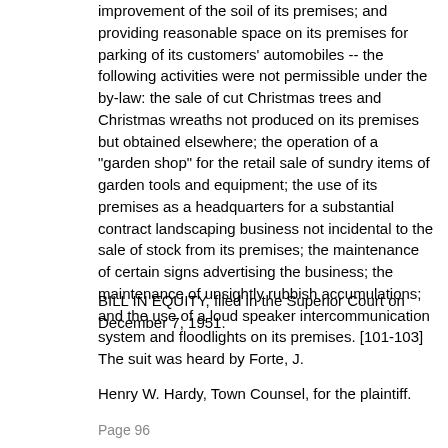improvement of the soil of its premises; and providing reasonable space on its premises for parking of its customers' automobiles -- the following activities were not permissible under the by-law: the sale of cut Christmas trees and Christmas wreaths not produced on its premises but obtained elsewhere; the operation of a "garden shop" for the retail sale of sundry items of garden tools and equipment; the use of its premises as a headquarters for a substantial contract landscaping business not incidental to the sale of stock from its premises; the maintenance of certain signs advertising the business; the maintenance of unsightly rubbish accumulations; and the use of a loud speaker intercommunication system and floodlights on its premises. [101-103]
BILL IN EQUITY, filed in the Superior Court on December 7, 1951.
The suit was heard by Forte, J.
Henry W. Hardy, Town Counsel, for the plaintiff.
Page 96